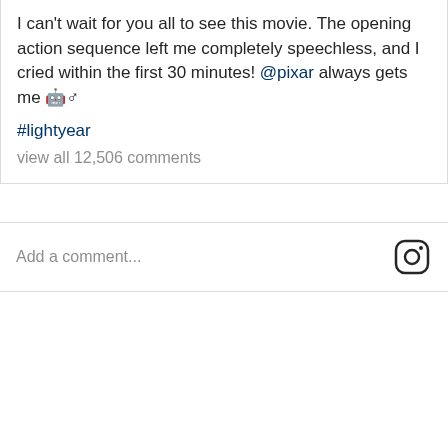I can't wait for you all to see this movie. The opening action sequence left me completely speechless, and I cried within the first 30 minutes! @pixar always gets me 🤖♂
#lightyear
view all 12,506 comments
Add a comment...